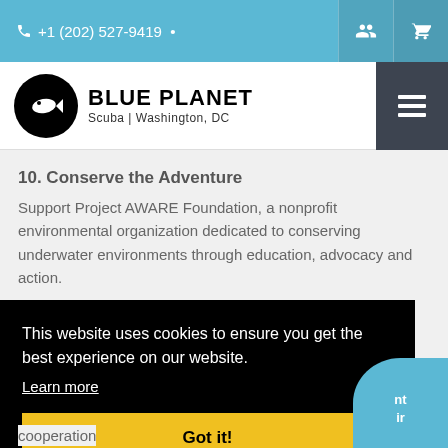+1 (202) 527-9419
[Figure (logo): Blue Planet Scuba Washington DC logo — black circle with white fish silhouette, bold text BLUE PLANET, subtitle Scuba | Washington, DC]
10. Conserve the Adventure
Support Project AWARE Foundation, a nonprofit environmental organization dedicated to conserving underwater environments through education, advocacy and action.
This website uses cookies to ensure you get the best experience on our website.
Learn more
Got it!
cooperation